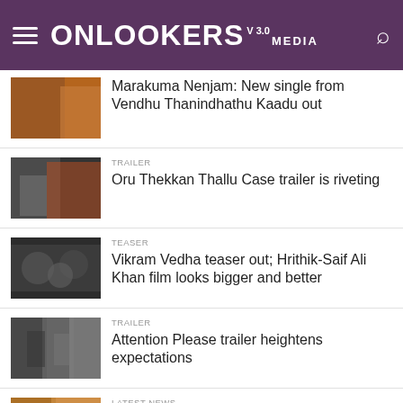Onlookers Media V 3.0
Marakuma Nenjam: New single from Vendhu Thanindhathu Kaadu out
TRAILER
Oru Thekkan Thallu Case trailer is riveting
TEASER
Vikram Vedha teaser out; Hrithik-Saif Ali Khan film looks bigger and better
TRAILER
Attention Please trailer heightens expectations
LATEST NEWS
Thiruchitrambalam beats Asuran and Karnan to become Dhanush's highest grosser in Tamil Nadu